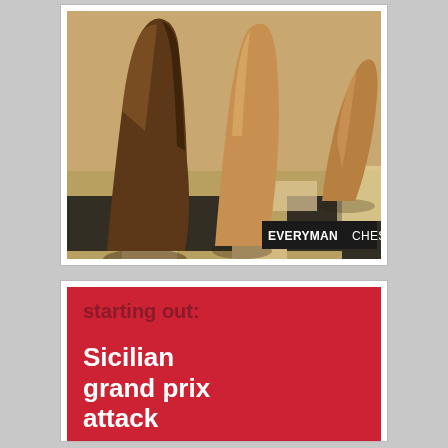[Figure (photo): Close-up photo of wooden chess pieces on a checkered board, with 'EVERYMAN CHESS' badge in lower right corner]
[Figure (photo): Book cover on red background with text 'starting out: Sicilian grand prix attack' in dark red and white large text]